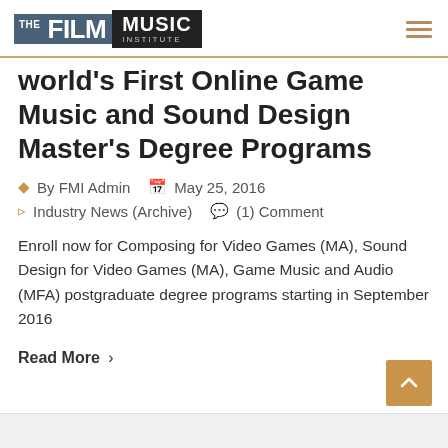The Film Music Institute
World's First Online Game Music and Sound Design Master's Degree Programs
By FMI Admin   May 25, 2016   Industry News (Archive)   (1) Comment
Enroll now for Composing for Video Games (MA), Sound Design for Video Games (MA), Game Music and Audio (MFA) postgraduate degree programs starting in September 2016
Read More >